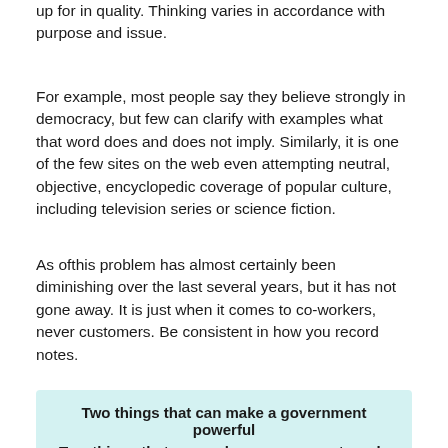up for in quality. Thinking varies in accordance with purpose and issue.
For example, most people say they believe strongly in democracy, but few can clarify with examples what that word does and does not imply. Similarly, it is one of the few sites on the web even attempting neutral, objective, encyclopedic coverage of popular culture, including television series or science fiction.
As ofthis problem has almost certainly been diminishing over the last several years, but it has not gone away. It is just when it comes to co-workers, never customers. Be consistent in how you record notes.
| Strength | Weaknesses |
| --- | --- |